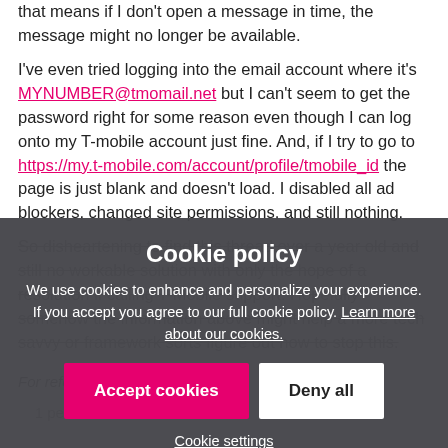that means if I don't open a message in time, the message might no longer be available.
I've even tried logging into the email account where it's MYNUMBER@tmomail.net but I can't seem to get the password right for some reason even though I can log onto my T-mobile account just fine. And, if I try to go to https://my.t-mobile.com/account/profile/tmobile_id the page is just blank and doesn't load. I disabled all ad blockers, changed site permissions, and still nothing.
So disheartening to find this thread over a year old and still no workable solution with only the hope of a resolution if calling T-Mobile support. Hopefully somehow the information above might help a more tech savvy or framework sorts figure out how to stop this.
Cookie policy
We use cookies to enhance and personalize your experience. If you accept you agree to our full cookie policy. Learn more about our cookies.
Accept cookies
Deny all
Cookie settings
For reference I
1 person likes this